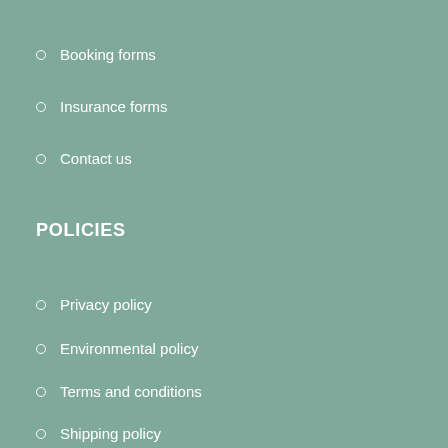Booking forms
Insurance forms
Contact us
POLICIES
Privacy policy
Environmental policy
Terms and conditions
Shipping policy
Covid policy